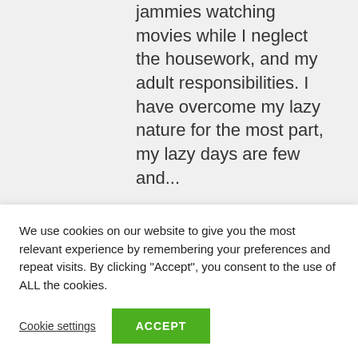jammies watching movies while I neglect the housework, and my adult responsibilities. I have overcome my lazy nature for the most part, my lazy days are few and...
Read More
Cheesy Roast
We use cookies on our website to give you the most relevant experience by remembering your preferences and repeat visits. By clicking "Accept", you consent to the use of ALL the cookies.
Cookie settings
ACCEPT